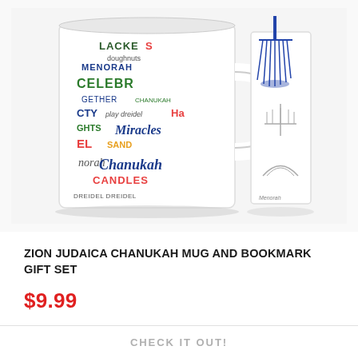[Figure (photo): Photo of a Chanukah-themed ceramic mug covered in colorful holiday words (Chanukah, Miracles, Candles, Dreidel, Menorah, Celebrate, etc.) alongside a bookmark with a blue tassel featuring Hanukkah imagery]
ZION JUDAICA CHANUKAH MUG AND BOOKMARK GIFT SET
$9.99
CHECK IT OUT!